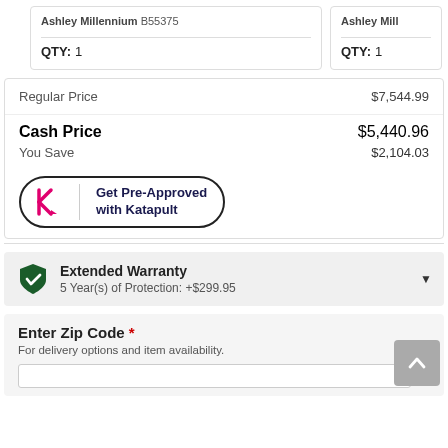Ashley Millennium B55375 | QTY: 1
Ashley Mill | QTY: 1
|  |  |
| --- | --- |
| Regular Price | $7,544.99 |
| Cash Price | $5,440.96 |
| You Save | $2,104.03 |
[Figure (logo): Katapult Get Pre-Approved button with pink K arrow logo and dark bordered pill shape]
Extended Warranty
5 Year(s) of Protection: +$299.95
Enter Zip Code *
For delivery options and item availability.